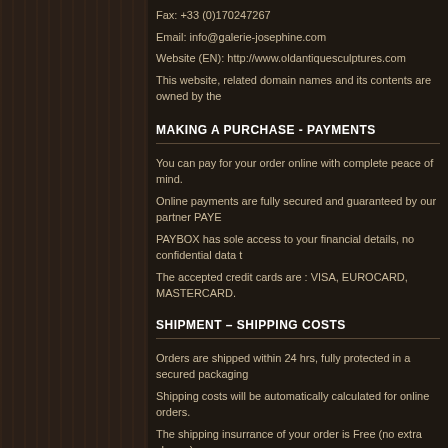Fax: +33 (0)170247267
Email: info@galerie-josephine.com
Website (EN): http://www.oldantiquesculptures.com
This website, related domain names and its contents are owned by the
MAKING A PURCHASE - PAYMENTS
You can pay for your order online with complete peace of mind.
Online payments are fully secured and guaranteed by our partner PAYE
PAYBOX has sole access to your financial details, no confidential data t
The accepted credit cards are : VISA, EUROCARD, MASTERCARD.
SHIPMENT – SHIPPING COSTS
Orders are shipped within 24 hrs, fully protected in a secured packaging
Shipping costs will be automatically calculated for online orders.
The shipping insurrance of your order is Free (no extra charge)
The Galerie Joséphine has selected the transport services with the best world.